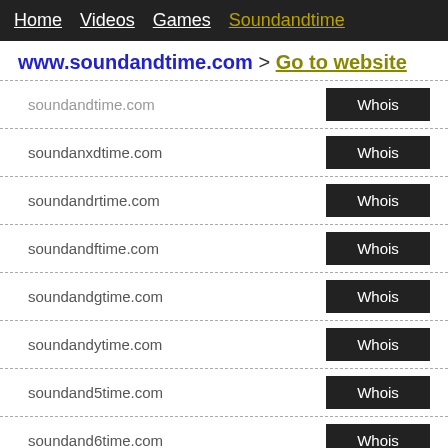Home  Videos  Games  Soundandtime
www.soundandtime.com > Go to website
soundandtime.com  Whois
soundanxdtime.com  Whois
soundandrtime.com  Whois
soundandftime.com  Whois
soundandgtime.com  Whois
soundandytime.com  Whois
soundand5time.com  Whois
soundand6time.com  Whois